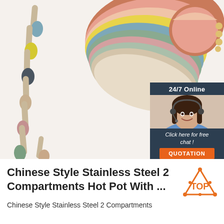[Figure (photo): Product photo showing colorful silicone spoons in various pastel colors fanned out, with a customer service chat widget overlay in the top-right showing a female agent with headset, '24/7 Online' text, 'Click here for free chat!' text, and an orange 'QUOTATION' button]
Chinese Style Stainless Steel 2 Compartments Hot Pot With ...
Chinese Style Stainless Steel 2 Compartments